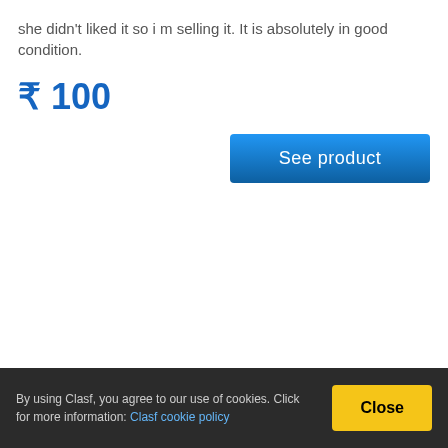she didn't liked it so i m selling it. It is absolutely in good condition.
₹ 100
See product
By using Clasf, you agree to our use of cookies. Click for more information: Clasf cookie policy